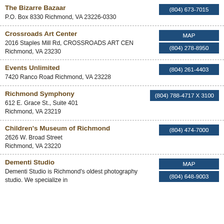The Bizarre Bazaar
P.O. Box 8330 Richmond, VA 23226-0330
Crossroads Art Center
2016 Staples Mill Rd, CROSSROADS ART CEN Richmond, VA 23230
Events Unlimited
7420 Ranco Road Richmond, VA 23228
Richmond Symphony
612 E. Grace St., Suite 401
Richmond, VA 23219
Children's Museum of Richmond
2626 W. Broad Street
Richmond, VA 23220
Dementi Studio
Dementi Studio is Richmond's oldest photography studio. We specialize in